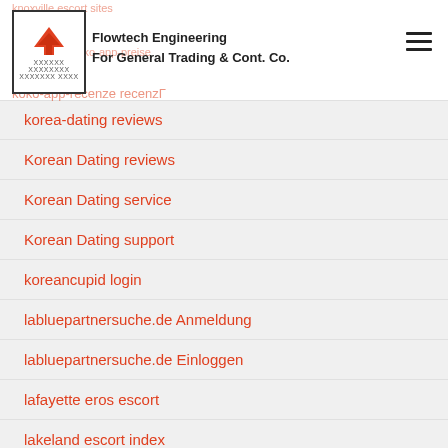Flowtech Engineering For General Trading & Cont. Co.
korea-dating reviews
Korean Dating reviews
Korean Dating service
Korean Dating support
koreancupid login
labluepartnersuche.de Anmeldung
labluepartnersuche.de Einloggen
lafayette eros escort
lakeland escort index
lakeland escort near me
lakewood escort service